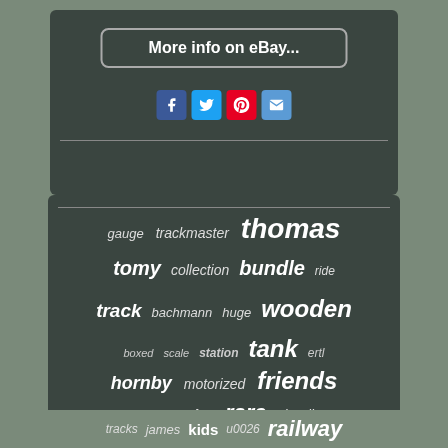[Figure (screenshot): eBay button with 'More info on eBay...' text and social sharing icons for Facebook, Twitter, Pinterest, and email]
[Figure (infographic): Tag cloud with train-related keywords including thomas, trackmaster, gauge, tomy, collection, bundle, ride, track, bachmann, huge, wooden, boxed, scale, station, tank, ertl, hornby, motorized, friends, sodor, series, rare, plarail, trains, engine, play, japan, tracks, james, kids, u0026, railway at various sizes indicating relative frequency/importance]